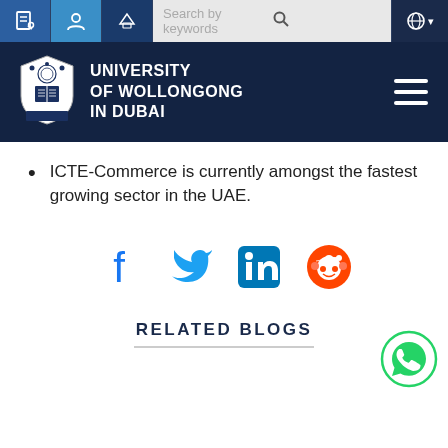University of Wollongong in Dubai - navigation header with search bar
[Figure (logo): University of Wollongong in Dubai logo with shield crest and text]
ICTE-Commerce is currently amongst the fastest growing sector in the UAE.
[Figure (infographic): Social share icons: Facebook, Twitter, LinkedIn, Reddit]
[Figure (infographic): WhatsApp floating button (green circle)]
RELATED BLOGS